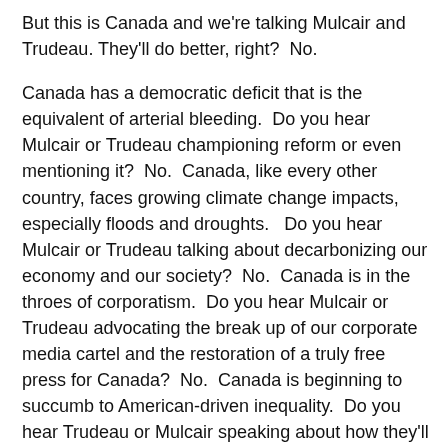But this is Canada and we're talking Mulcair and Trudeau. They'll do better, right?  No.
Canada has a democratic deficit that is the equivalent of arterial bleeding.  Do you hear Mulcair or Trudeau championing reform or even mentioning it?  No.  Canada, like every other country, faces growing climate change impacts, especially floods and droughts.   Do you hear Mulcair or Trudeau talking about decarbonizing our economy and our society?  No.  Canada is in the throes of corporatism.  Do you hear Mulcair or Trudeau advocating the break up of our corporate media cartel and the restoration of a truly free press for Canada?  No.  Canada is beginning to succumb to American-driven inequality.  Do you hear Trudeau or Mulcair speaking about how they'll arrest and then reverse that?  No.
To put much faith in Mulcair or Trudeau to right Canada's political keel and heal our democratic deficit seems more than a stretch.  This suggests the state and the country will remain at odds.  It may well be we the people versus them, our ruling class.